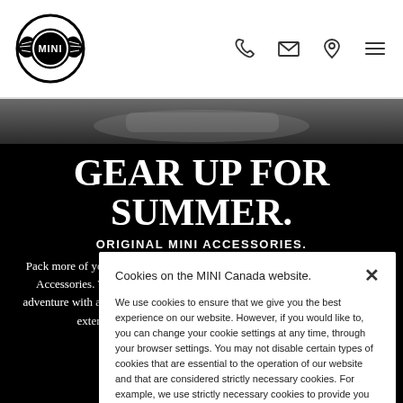[Figure (logo): MINI logo — circular emblem with wings and brand name]
[Figure (other): Header navigation icons: phone, envelope, location pin, hamburger menu]
[Figure (photo): Partial hero photo of a MINI car]
GEAR UP FOR SUMMER.
ORIGINAL MINI ACCESSORIES.
Pack more of your distinct personality into every drive with Original MINI Accessories. Whether you’re looking to make more room for your next adventure with a rooftop cargo box, or add a touch of your unique style with exterior mirror caps, discover an array of accessory o…
Cookies on the MINI Canada website.
We use cookies to ensure that we give you the best experience on our website. However, if you would like to, you can change your cookie settings at any time, through your browser settings. You may not disable certain types of cookies that are essential to the operation of our website and that are considered strictly necessary cookies. For example, we use strictly necessary cookies to provide you with regional pricing information. You can find detailed information about how cookies are used on this website by clicking here.